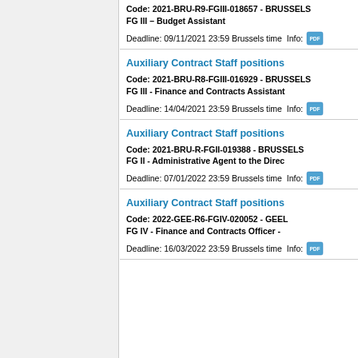Code: 2021-BRU-R9-FGIII-018657 - BRUSSELS
FG III – Budget Assistant
Deadline: 09/11/2021 23:59 Brussels time  Info:
Auxiliary Contract Staff positions
Code: 2021-BRU-R8-FGIII-016929 - BRUSSELS
FG III - Finance and Contracts Assistant
Deadline: 14/04/2021 23:59 Brussels time  Info:
Auxiliary Contract Staff positions
Code: 2021-BRU-R-FGII-019388 - BRUSSELS
FG II - Administrative Agent to the Direc
Deadline: 07/01/2022 23:59 Brussels time  Info:
Auxiliary Contract Staff positions
Code: 2022-GEE-R6-FGIV-020052 - GEEL
FG IV - Finance and Contracts Officer -
Deadline: 16/03/2022 23:59 Brussels time  Info: